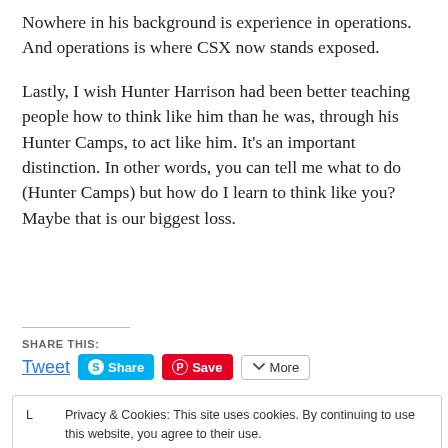Nowhere in his background is experience in operations. And operations is where CSX now stands exposed.
Lastly, I wish Hunter Harrison had been better teaching people how to think like him than he was, through his Hunter Camps, to act like him. It’s an important distinction. In other words, you can tell me what to do (Hunter Camps) but how do I learn to think like you? Maybe that is our biggest loss.
SHARE THIS:
Tweet  Share  Save  More
Privacy & Cookies: This site uses cookies. By continuing to use this website, you agree to their use. To find out more, including how to control cookies, see here: Cookie Policy
Close and accept